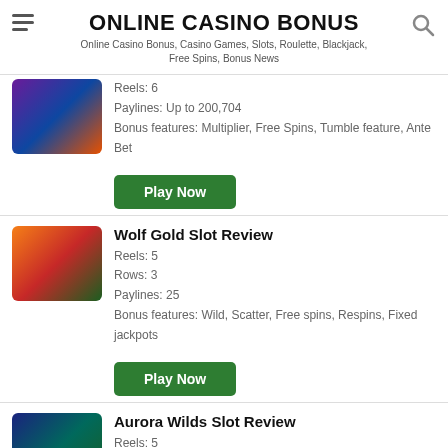ONLINE CASINO BONUS
Online Casino Bonus, Casino Games, Slots, Roulette, Blackjack, Free Spins, Bonus News
Reels: 6
Paylines: Up to 200,704
Bonus features: Multiplier, Free Spins, Tumble feature, Ante Bet
Play Now
Wolf Gold Slot Review
Reels: 5
Rows: 3
Paylines: 25
Bonus features: Wild, Scatter, Free spins, Respins, Fixed jackpots
Play Now
Aurora Wilds Slot Review
Reels: 5
Rows: 3
Paylines: 10
Bonus features: Respin, Expanding Wild, Fixed Jackpot
Play Now